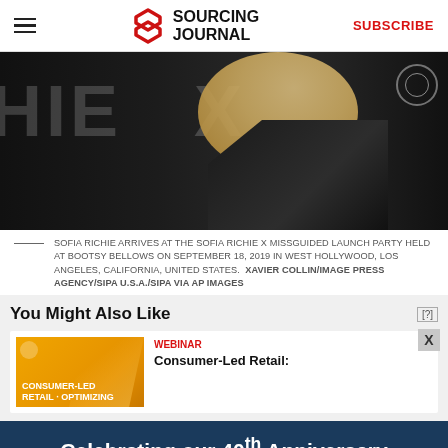Sourcing Journal — SUBSCRIBE
[Figure (photo): Sofia Richie at a dark event backdrop with large white letters, wearing a black leather jacket and white top, blonde hair]
SOFIA RICHIE ARRIVES AT THE SOFIA RICHIE X MISSGUIDED LAUNCH PARTY HELD AT BOOTSY BELLOWS ON SEPTEMBER 18, 2019 IN WEST HOLLYWOOD, LOS ANGELES, CALIFORNIA, UNITED STATES.  XAVIER COLLIN/IMAGE PRESS AGENCY/SIPA U.S.A./SIPA VIA AP IMAGES
You Might Also Like
[Figure (screenshot): Promotional card for a webinar titled Consumer-Led Retail: with an orange background image thumbnail]
[Figure (illustration): Advertisement banner: Celebrating our 40th Anniversary since 1982 to 2022]